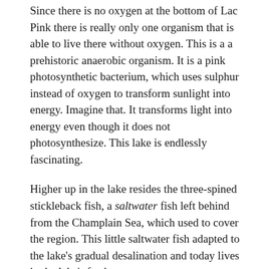Since there is no oxygen at the bottom of Lac Pink there is really only one organism that is able to live there without oxygen. This is a a prehistoric anaerobic organism. It is a pink photosynthetic bacterium, which uses sulphur instead of oxygen to transform sunlight into energy. Imagine that. It transforms light into energy even though it does not photosynthesize. This lake is endlessly fascinating.
Higher up in the lake resides the three-spined stickleback fish, a saltwater fish left behind from the Champlain Sea, which used to cover the region. This little saltwater fish adapted to the lake's gradual desalination and today lives in the lake's fresh water.
The Champlain Sea was a temporary inlet of the Atlantic Ocean that was created by retreating glaciers just after the last Ice Age. The Champlain Sea once included much of the land that is now part of Quebec and Ontario and even parts of New York and Vermont. The huge continental ice sheet